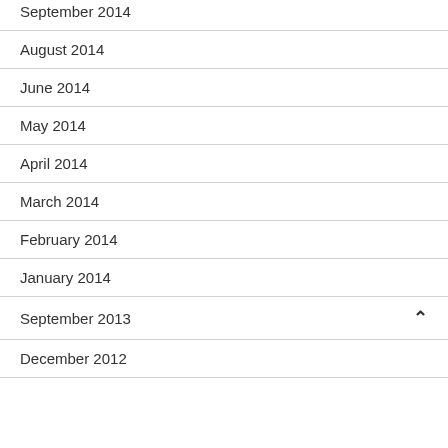September 2014
August 2014
June 2014
May 2014
April 2014
March 2014
February 2014
January 2014
September 2013
December 2012